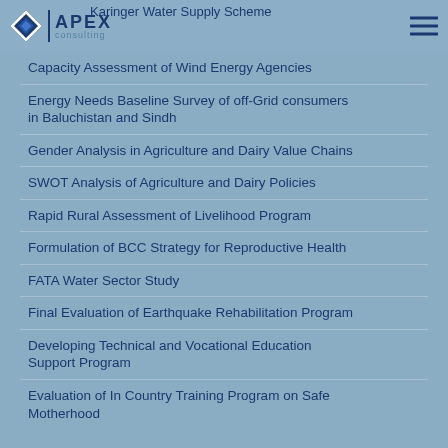Karinger Water Supply Scheme
Capacity Assessment of Wind Energy Agencies
Energy Needs Baseline Survey of off-Grid consumers in Baluchistan and Sindh
Gender Analysis in Agriculture and Dairy Value Chains
SWOT Analysis of Agriculture and Dairy Policies
Rapid Rural Assessment of Livelihood Program
Formulation of BCC Strategy for Reproductive Health
FATA Water Sector Study
Final Evaluation of Earthquake Rehabilitation Program
Developing Technical and Vocational Education Support Program
Evaluation of In Country Training Program on Safe Motherhood